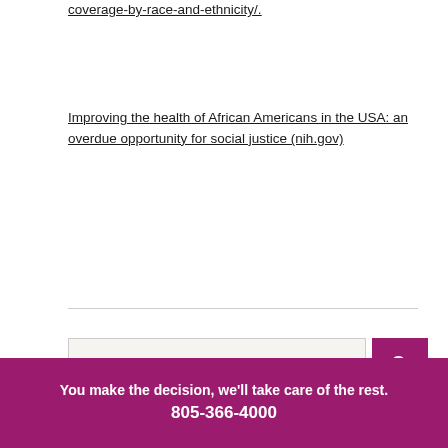coverage-by-race-and-ethnicity/.
Improving the health of African Americans in the USA: an overdue opportunity for social justice (nih.gov)
Type here...
You make the decision, we'll take care of the rest.
805-366-4000